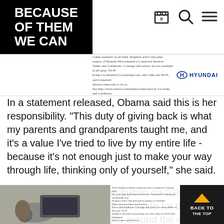[Figure (logo): Black rectangle with white bold text reading BECAUSE OF THEM WE CAN]
[Figure (logo): Navigation icons: shopping cart, search magnifier, hamburger menu]
[Figure (infographic): Hyundai advertisement banner with small text about connected services and Wi-Fi hotspot, with Hyundai blue logo]
In a statement released, Obama said this is her responsibility. “This duty of giving back is what my parents and grandparents taught me, and it’s a value I’ve tried to live by my entire life - because it’s not enough just to make your way through life, thinking only of yourself,” she said.
She announced the contribution on “Giving Tuesday,” a national day set aside for the public to give to nonprofits around the world. The Chicago native said she was “incredibly blessed and” humbled by members...
[Figure (photo): Person's hand on steering wheel of a car with infotainment screen visible, Hyundai advertisement overlay]
[Figure (infographic): Back to top button with yellow chevron arrow on dark background, text BACK TO THE TOP]